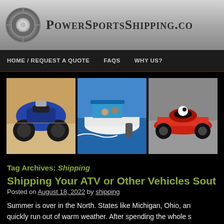PowerSportsShipping.com
HOME / REQUEST A QUOTE   FAQS   WHY US?
[Figure (photo): Three vehicle images: ATV/quad bike on sand, white speedboat on water, red race car on track]
Tag Archives: Shipping
Shipping Your ATV or Other Vehicles Sout…
Posted on August 18, 2022 by shipping
Summer is over in the North. States like Michigan, Ohio, an… quickly run out of warm weather. After spending the whole s… enjoying your time on the trails and riding your ATV or other…
→